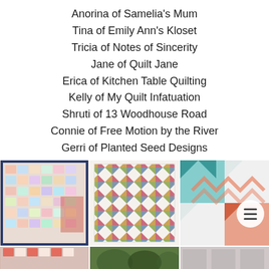Anorina of Samelia's Mum
Tina of Emily Ann's Kloset
Tricia of Notes of Sincerity
Jane of Quilt Jane
Erica of Kitchen Table Quilting
Kelly of My Quilt Infatuation
Shruti of 13 Woodhouse Road
Connie of Free Motion by the River
Gerri of Planted Seed Designs
[Figure (photo): Three quilt photos in a row: left shows a colorful patchwork quilt draped over a chair, center shows a pinwheel star pattern quilt laid flat, right shows a geometric teal and coral quilt with a menu button overlay.]
[Figure (photo): Three partial quilt photos in a row at the bottom of the page, partially cut off.]